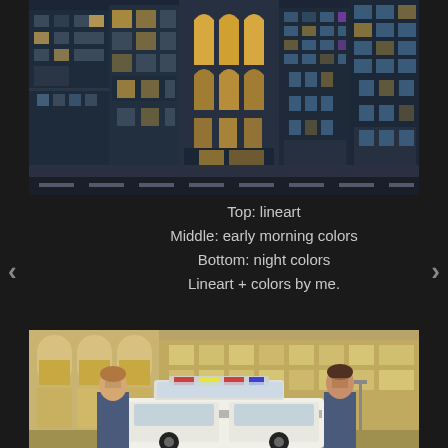[Figure (illustration): Night city street scene illustration showing dark urban buildings with lit windows in dark blue/grey tones, with a road in the foreground with dashed white center lines.]
Top: lineart
Middle: early morning colors
Bottom: night colors
Lineart + colors by me.
[Figure (illustration): Early morning color version of city street scene with two police officers/detectives standing beside a police car with lights on top, in front of large urban buildings in warm yellow/beige tones.]